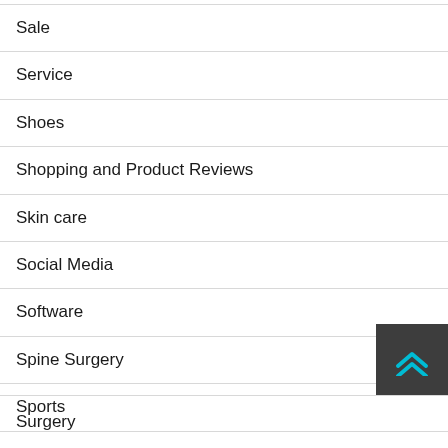Sale
Service
Shoes
Shopping and Product Reviews
Skin care
Social Media
Software
Spine Surgery
Sports
Spotting Scope
Surgery